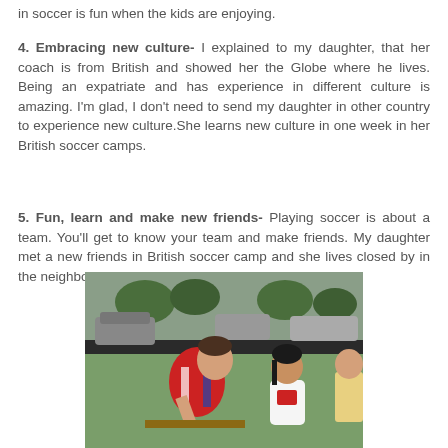in soccer is fun when the kids are enjoying.
4. Embracing new culture- I explained to my daughter, that her coach is from British and showed her the Globe where he lives. Being an expatriate and has experience in different culture is amazing. I'm glad, I don't need to send my daughter in other country to experience new culture.She learns new culture in one week in her British soccer camps.
5. Fun, learn and make new friends- Playing soccer is about a team. You'll get to know your team and make friends. My daughter met a new friends in British soccer camp and she lives closed by in the neighborhood.Yay! for my daughter.
[Figure (photo): A man in a British soccer jersey bending over writing or signing something, with a young girl in a white shirt standing nearby, outdoors in a parking area with trees in the background.]